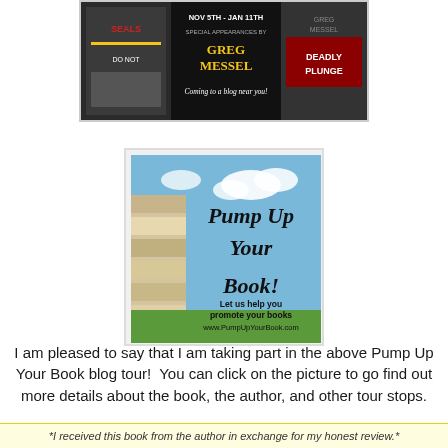[Figure (illustration): Blog tour banner for Greg Messel featuring 'NOV 5TH - JAN 11TH, SPECIAL APPEARANCES BY GREG MESSEL, Coming to a blog near you!' with book covers including 'SEALS' and 'Deadly Plunge']
[Figure (illustration): Pump Up Your Book logo image with cursive text 'Pump Up Your Book!' on a sky/books background with text 'Let us help you promote your books www.PumpUpYourBook.com']
I am pleased to say that I am taking part in the above Pump Up Your Book blog tour!  You can click on the picture to go find out more details about the book, the author, and other tour stops.
*I received this book from the author in exchange for my honest review.*